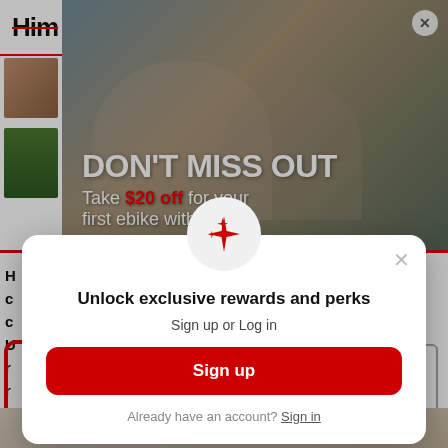[Figure (screenshot): Website screenshot showing a cycling/ebike retail site header with logo 'Him' partially visible, navigation icons, and a promotional banner with two women cycling wearing helmets. Text reads 'DON'T MISS OUT' and 'Take $20 off for your first ebike with promo'. A modal popup overlays the page with sparkle icon, 'Unlock exclusive rewards and perks', 'Sign up or Log in', a red 'Sign up' button, and 'Already have an account? Sign in' link.]